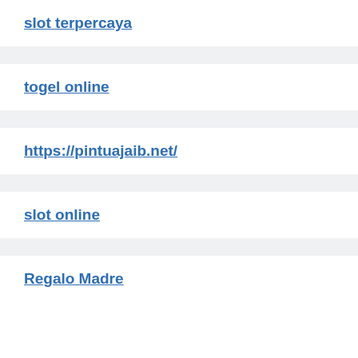slot terpercaya
togel online
https://pintuajaib.net/
slot online
Regalo Madre